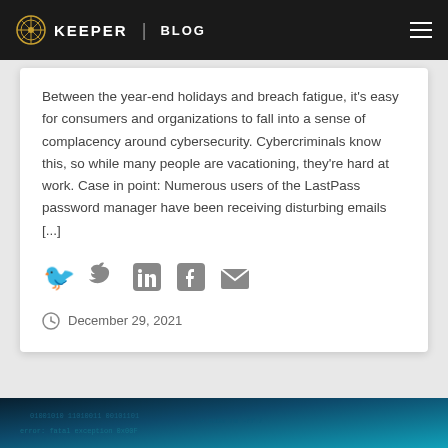KEEPER | BLOG
Between the year-end holidays and breach fatigue, it's easy for consumers and organizations to fall into a sense of complacency around cybersecurity. Cybercriminals know this, so while many people are vacationing, they're hard at work. Case in point: Numerous users of the LastPass password manager have been receiving disturbing emails [...]
[Figure (infographic): Social share icons: Twitter, LinkedIn, Facebook, Email]
December 29, 2021
[Figure (photo): Dark teal/blue background image, partially visible at bottom of page]